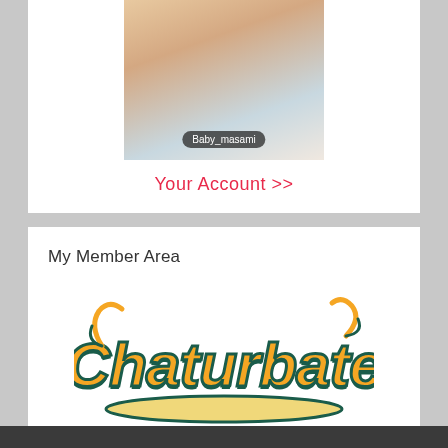[Figure (photo): Thumbnail photo of a person, with a dark rounded badge overlay showing username 'Baby_masami']
Your Account >>
My Member Area
[Figure (logo): Chaturbate logo — orange and teal script lettering with underline swoosh]
Sign Up Here